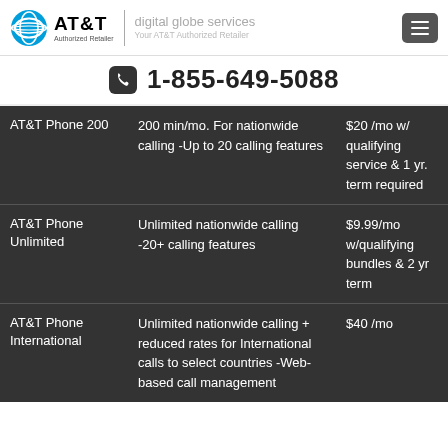AT&T Authorized Retailer | digital globe services Your AT&T Authorized Retailer
1-855-649-5088
| Plan | Description | Price |
| --- | --- | --- |
| AT&T Phone 200 | 200 min/mo. For nationwide calling -Up to 20 calling features | $20 /mo w/ qualifying service & 1 yr. term required |
| AT&T Phone Unlimited | Unlimited nationwide calling -20+ calling features | $9.99/mo w/qualifying bundles & 2 yr term |
| AT&T Phone International | Unlimited nationwide calling + reduced rates for International calls to select countries -Web-based call management | $40 /mo |